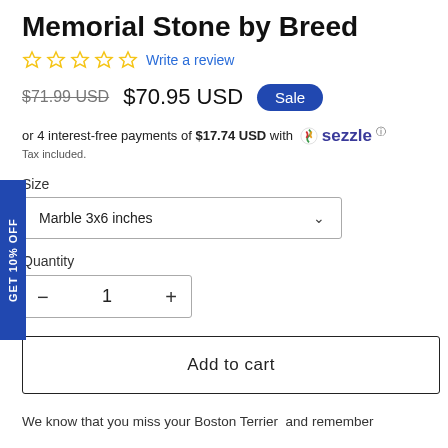Memorial Stone by Breed
☆ ☆ ☆ ☆ ☆  Write a review
$71.99 USD  $70.95 USD  Sale
or 4 interest-free payments of $17.74 USD with  sezzle ⓘ
Tax included.
Size
Marble 3x6 inches
Quantity
- 1 +
Add to cart
We know that you miss your Boston Terrier  and remember